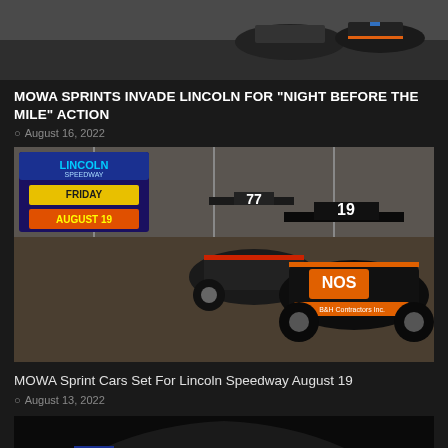[Figure (photo): Top portion of sprint car racing photo, partially visible at the top of the page]
MOWA SPRINTS INVADE LINCOLN FOR “NIGHT BEFORE THE MILE” ACTION
August 16, 2022
[Figure (photo): Sprint car racing photo showing two sprint cars racing on dirt track. Car number 77 and car number 19 (NOS Energy Drink sponsored, B&H Contractors Inc.) racing side by side. Lincoln Speedway Friday August 19 event banner visible in upper left.]
MOWA Sprint Cars Set For Lincoln Speedway August 19
August 13, 2022
[Figure (photo): Bottom portion of another article image, partially visible — appears to show a racing helmet or logo on black background with red/white/blue elements]